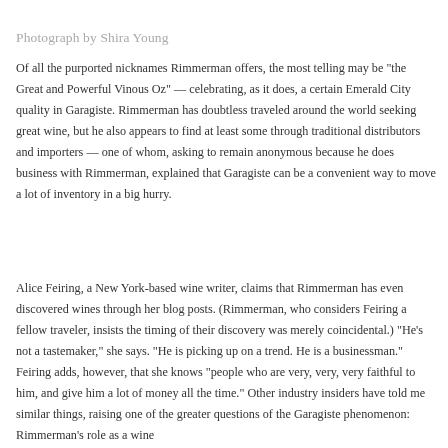Photograph by Shira Young
Of all the purported nicknames Rimmerman offers, the most telling may be "the Great and Powerful Vinous Oz" — celebrating, as it does, a certain Emerald City quality in Garagiste. Rimmerman has doubtless traveled around the world seeking great wine, but he also appears to find at least some through traditional distributors and importers — one of whom, asking to remain anonymous because he does business with Rimmerman, explained that Garagiste can be a convenient way to move a lot of inventory in a big hurry.
Alice Feiring, a New York-based wine writer, claims that Rimmerman has even discovered wines through her blog posts. (Rimmerman, who considers Feiring a fellow traveler, insists the timing of their discovery was merely coincidental.) "He's not a tastemaker," she says. "He is picking up on a trend. He is a businessman." Feiring adds, however, that she knows "people who are very, very, very faithful to him, and give him a lot of money all the time." Other industry insiders have told me similar things, raising one of the greater questions of the Garagiste phenomenon: Rimmerman's role as a wine